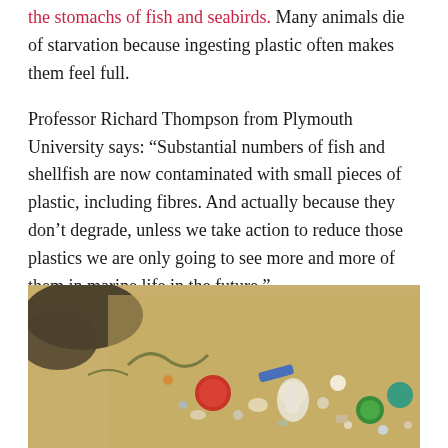the stomachs of fish and seabirds. Many animals die of starvation because ingesting plastic often makes them feel full.
Professor Richard Thompson from Plymouth University says: “Substantial numbers of fish and shellfish are now contaminated with small pieces of plastic, including fibres. And actually because they don’t degrade, unless we take action to reduce those plastics we are only going to see more and more of them in marine life in the future.”
[Figure (photo): Photo of plastic litter and debris scattered on sandy beach, showing various colorful plastic caps, bottles, and small plastic objects mixed with sand and other waste.]